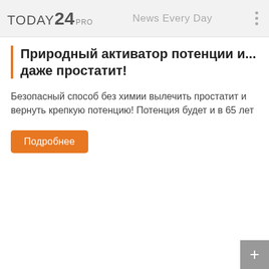TODAY 24 PRO   News Every Day
Природный активатор потенции и... даже простатит!
Безопасный способ без химии вылечить простатит и вернуть крепкую потенцию! Потенция будет и в 65 лет
Подробнее